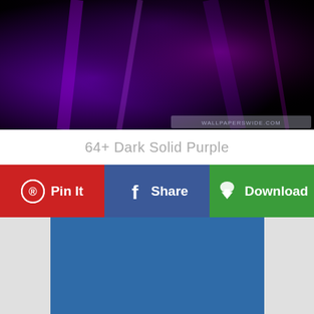[Figure (photo): Dark purple abstract wallpaper with streaks of purple and magenta on a black background, with a watermark reading wallpaperswide.com in the lower right corner]
64+ Dark Solid Purple
[Figure (infographic): Three action buttons in a row: 'Pin It' button in red with Pinterest circle icon, 'Share' button in blue with Facebook f icon, 'Download' button in green with cloud download icon]
[Figure (other): Gray background area with a large steel blue rectangle centered within it, likely an advertisement placeholder]